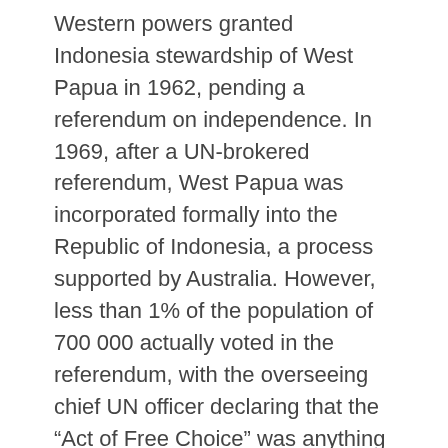Western powers granted Indonesia stewardship of West Papua in 1962, pending a referendum on independence. In 1969, after a UN-brokered referendum, West Papua was incorporated formally into the Republic of Indonesia, a process supported by Australia. However, less than 1% of the population of 700 000 actually voted in the referendum, with the overseeing chief UN officer declaring that the “Act of Free Choice” was anything but democratic.3 Pro-independence groups have continued to resist Indonesian dominion, but demands for a fully representative referendum on independence have not been heeded. With the transition from the Soeharto era, Indonesia granted the province “Special Autonomy” in 2001.2 The Special Autonomy Law No. 21 2001 involved the establishment of a West Papuan representative Council (Papuan People’s Council), with the aim of giving indigenous Papuans more power over their own